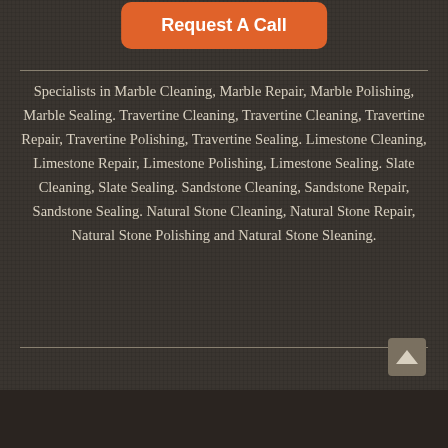a home appraisal
Request A Call
Specialists in Marble Cleaning, Marble Repair, Marble Polishing, Marble Sealing. Travertine Cleaning, Travertine Cleaning, Travertine Repair, Travertine Polishing, Travertine Sealing. Limestone Cleaning, Limestone Repair, Limestone Polishing, Limestone Sealing. Slate Cleaning, Slate Sealing. Sandstone Cleaning, Sandstone Repair, Sandstone Sealing. Natural Stone Cleaning, Natural Stone Repair, Natural Stone Polishing and Natural Stone Sleaning.